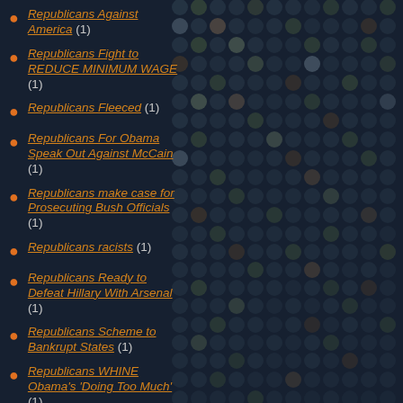Republicans Against America (1)
Republicans Fight to REDUCE MINIMUM WAGE (1)
Republicans Fleeced (1)
Republicans For Obama Speak Out Against McCain (1)
Republicans make case for Prosecuting Bush Officials (1)
Republicans racists (1)
Republicans Ready to Defeat Hillary With Arsenal (1)
Republicans Scheme to Bankrupt States (1)
Republicans WHINE Obama's 'Doing Too Much' (1)
Republicans Will Defeat Hillary (1)
Republicans:The Problem With America (1)
Repubs Blocking Unemployment Checks (1)
Repubs Falling SHORT on Job Promise (1)